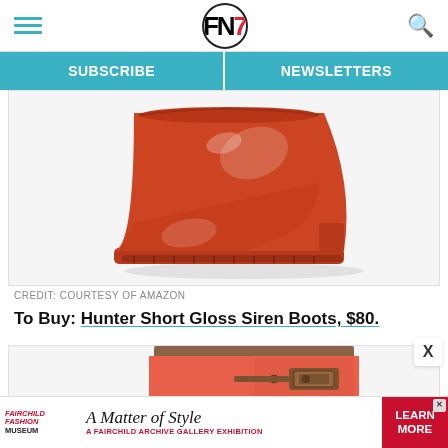FN7 — SUBSCRIBE | NEWSLETTERS
[Figure (photo): Red/orange glossy short Hunter rain boot on white background, viewed from the side showing the sole and toe]
CREDIT: COURTESY OF AMAZON
To Buy: Hunter Short Gloss Siren Boots, $80.
[Figure (photo): Coral/salmon colored short rain boot with brown buckle strap detail, top portion visible]
[Figure (other): Advertisement banner: Fairchild Fashion Museum — A Matter of Style, A Fairchild Archive Gallery Exhibition — Learn More button]